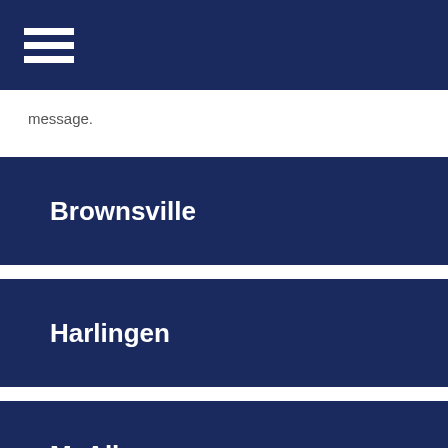message.
Brownsville
Harlingen
McAllen